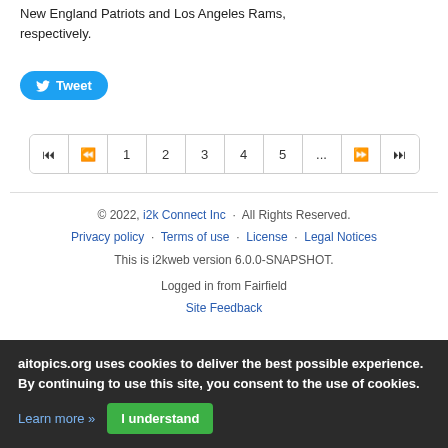New England Patriots and Los Angeles Rams, respectively.
[Figure (other): Tweet button (blue rounded button with Twitter bird icon and 'Tweet' text)]
[Figure (other): Pagination control with buttons: |<< << 1 2 3 4 5 ... >> >>|]
© 2022, i2k Connect Inc · All Rights Reserved. Privacy policy · Terms of use · License · Legal Notices This is i2kweb version 6.0.0-SNAPSHOT. Logged in from Fairfield Site Feedback
aitopics.org uses cookies to deliver the best possible experience. By continuing to use this site, you consent to the use of cookies. Learn more » I understand